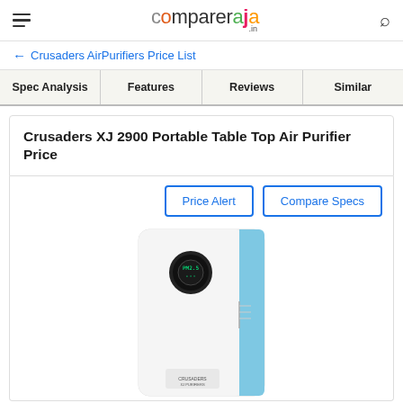compareraja.in
← Crusaders AirPurifiers Price List
| Spec Analysis | Features | Reviews | Similar |
| --- | --- | --- | --- |
Crusaders XJ 2900 Portable Table Top Air Purifier Price
Price Alert | Compare Specs
[Figure (photo): Crusaders XJ 2900 portable white and blue air purifier device]